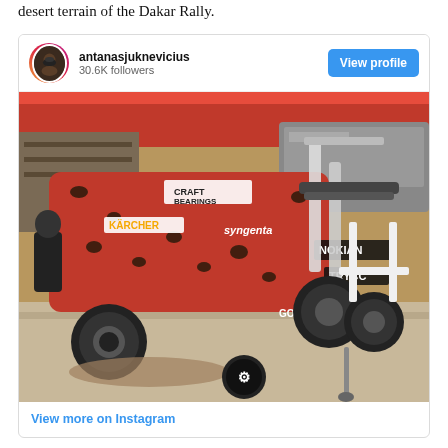desert terrain of the Dakar Rally.
[Figure (screenshot): Instagram post embed from user @antanasjuknevicius (30.6K followers) showing a damaged red rally truck with sponsor logos (Craft Bearings, Karcher, syngenta, Nokian, Trycc, Goose) lying on its side in a pit/service area, with broken suspension and wheels visible.]
View more on Instagram